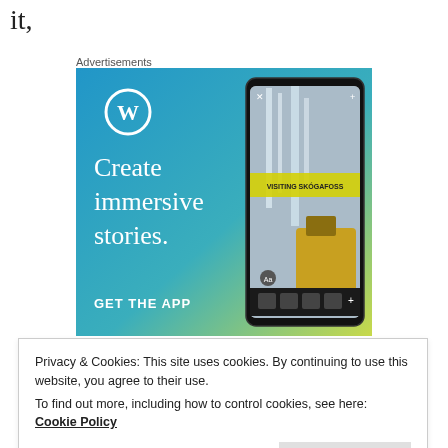it,
Advertisements
[Figure (screenshot): WordPress advertisement banner with blue-to-green gradient background. Shows WordPress 'W' logo in white circle top-left. Large white serif text reads 'Create immersive stories.' and 'GET THE APP' in bold. Right side shows a mobile phone screenshot displaying a blog post titled 'VISITING SKÓGAFOSS' with a waterfall and person in yellow jacket photo.]
Privacy & Cookies: This site uses cookies. By continuing to use this website, you agree to their use.
To find out more, including how to control cookies, see here: Cookie Policy
Close and accept